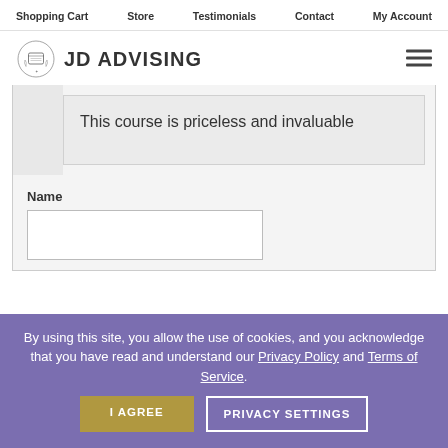Shopping Cart | Store | Testimonials | Contact | My Account
[Figure (logo): JD Advising logo with diploma/scroll icon and text 'JD ADVISING']
This course is priceless and invaluable
Name
By using this site, you allow the use of cookies, and you acknowledge that you have read and understand our Privacy Policy and Terms of Service.
I AGREE
PRIVACY SETTINGS